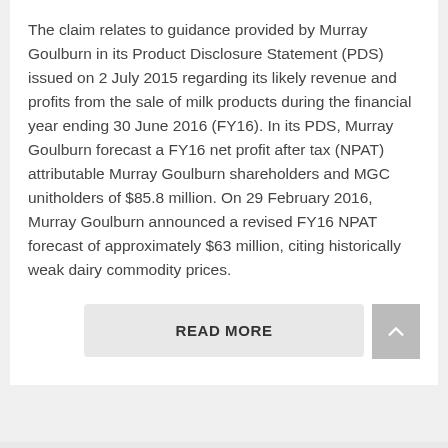The claim relates to guidance provided by Murray Goulburn in its Product Disclosure Statement (PDS) issued on 2 July 2015 regarding its likely revenue and profits from the sale of milk products during the financial year ending 30 June 2016 (FY16). In its PDS, Murray Goulburn forecast a FY16 net profit after tax (NPAT) attributable Murray Goulburn shareholders and MGC unitholders of $85.8 million. On 29 February 2016, Murray Goulburn announced a revised FY16 NPAT forecast of approximately $63 million, citing historically weak dairy commodity prices.
READ MORE